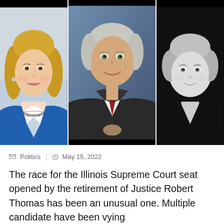[Figure (photo): Three candidate headshots side by side: a woman with blonde hair and blue blazer on the left (color photo), a man in dark suit with red tie in the center (color photo), and a woman with short hair on the right (black and white photo).]
Politics  |  May 15, 2022
The race for the Illinois Supreme Court seat opened by the retirement of Justice Robert Thomas has been an unusual one. Multiple candidate have been vying